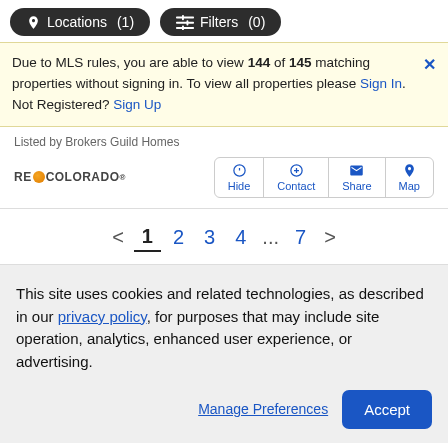Locations (1)   Filters (0)
Due to MLS rules, you are able to view 144 of 145 matching properties without signing in. To view all properties please Sign In. Not Registered? Sign Up
Listed by Brokers Guild Homes
[Figure (logo): RE/COLORADO logo with orange dot]
Hide  Contact  Share  Map
< 1 2 3 4 ... 7 >
This site uses cookies and related technologies, as described in our privacy policy, for purposes that may include site operation, analytics, enhanced user experience, or advertising.
Manage Preferences   Accept